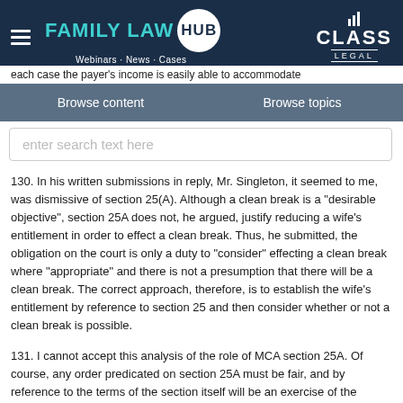FAMILY LAW HUB — Webinars · News · Cases | CLASS LEGAL
each case the payer's income is easily able to accommodate
Browse content    Browse topics
enter search text here
130. In his written submissions in reply, Mr. Singleton, it seemed to me, was dismissive of section 25(A). Although a clean break is a "desirable objective", section 25A does not, he argued, justify reducing a wife's entitlement in order to effect a clean break. Thus, he submitted, the obligation on the court is only a duty to "consider" effecting a clean break where "appropriate" and there is not a presumption that there will be a clean break. The correct approach, therefore, is to establish the wife's entitlement by reference to section 25 and then consider whether or not a clean break is possible.
131. I cannot accept this analysis of the role of MCA section 25A. Of course, any order predicated on section 25A must be fair, and by reference to the terms of the section itself will be an exercise of the court's powers which involves the application of the criteria contained in MCA section 25(2). In my judgment, however, the